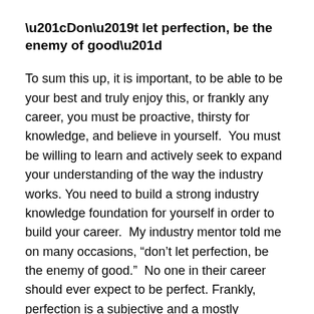“Don’t let perfection, be the enemy of good”
To sum this up, it is important, to be able to be your best and truly enjoy this, or frankly any career, you must be proactive, thirsty for knowledge, and believe in yourself.  You must be willing to learn and actively seek to expand your understanding of the way the industry works. You need to build a strong industry knowledge foundation for yourself in order to build your career.  My industry mentor told me on many occasions, “don’t let perfection, be the enemy of good.”  No one in their career should ever expect to be perfect. Frankly, perfection is a subjective and a mostly unattainable standard.
The last thing that is important to remember is that